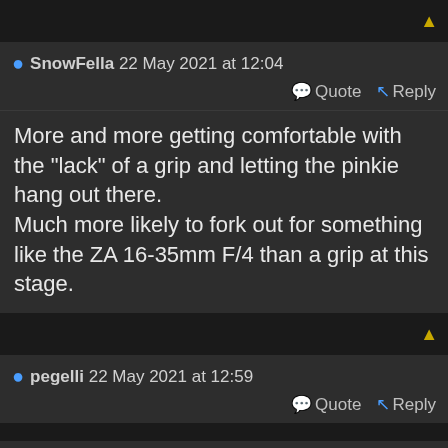SnowFella 22 May 2021 at 12:04
Quote  Reply
More and more getting comfortable with the "lack" of a grip and letting the pinkie hang out there.
Much more likely to fork out for something like the ZA 16-35mm F/4 than a grip at this stage.
pegelli 22 May 2021 at 12:59
Quote  Reply